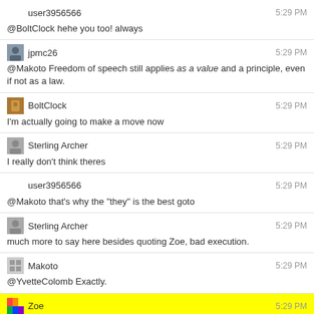user3956566 5:29 PM
@BoltClock hehe you too! always
jpmc26 5:29 PM
@Makoto Freedom of speech still applies as a value and a principle, even if not as a law.
BoltClock 5:29 PM
I'm actually going to make a move now
Sterling Archer 5:29 PM
I really don't think theres
user3956566 5:29 PM
@Makoto that's why the "they" is the best goto
Sterling Archer 5:29 PM
much more to say here besides quoting Zoe, bad execution.
Makoto 5:29 PM
@YvetteColomb Exactly.
Zoe 5:29 PM
@SterlingArcher The critical issue is the name part, and presumably the gender-neutral pronouns. Allowing those two alone is enough to not offend most people, and not trigger those who are against it.
Sébastien Renauld 5:29 PM